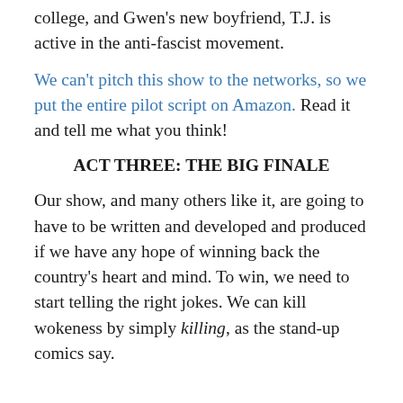college, and Gwen’s new boyfriend, T.J. is active in the anti-fascist movement.
We can’t pitch this show to the networks, so we put the entire pilot script on Amazon. Read it and tell me what you think!
ACT THREE: THE BIG FINALE
Our show, and many others like it, are going to have to be written and developed and produced if we have any hope of winning back the country’s heart and mind. To win, we need to start telling the right jokes. We can kill wokeness by simply killing, as the stand-up comics say.